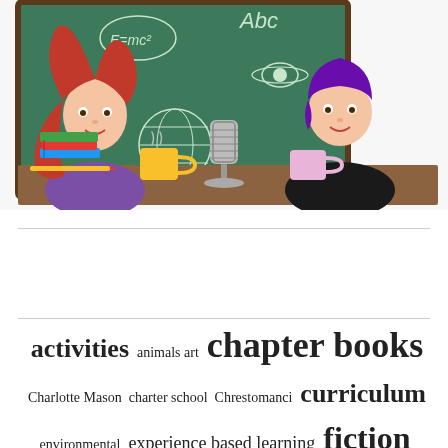[Figure (illustration): Cartoon illustration of two women sitting at a desk in front of a green chalkboard. Left woman has long red hair, wearing purple top, with stack of books. Right woman has short purple hair, wearing black top. A vintage microphone sits between them, along with coffee mugs. Chalkboard shows 'Abc', 'E=mc²', a Saturn planet drawing, and a globe drawing.]
activities animals art chapter books Charlotte Mason charter school Chrestomanci curriculum environmental experience based learning fiction games geography good historical fiction Privacy & Cookies Policy